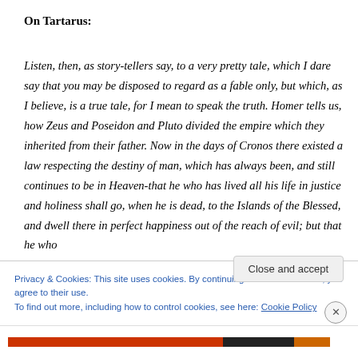On Tartarus:
Listen, then, as story-tellers say, to a very pretty tale, which I dare say that you may be disposed to regard as a fable only, but which, as I believe, is a true tale, for I mean to speak the truth. Homer tells us, how Zeus and Poseidon and Pluto divided the empire which they inherited from their father. Now in the days of Cronos there existed a law respecting the destiny of man, which has always been, and still continues to be in Heaven-that he who has lived all his life in justice and holiness shall go, when he is dead, to the Islands of the Blessed, and dwell there in perfect happiness out of the reach of evil; but that he who
Privacy & Cookies: This site uses cookies. By continuing to use this website, you agree to their use. To find out more, including how to control cookies, see here: Cookie Policy
Close and accept